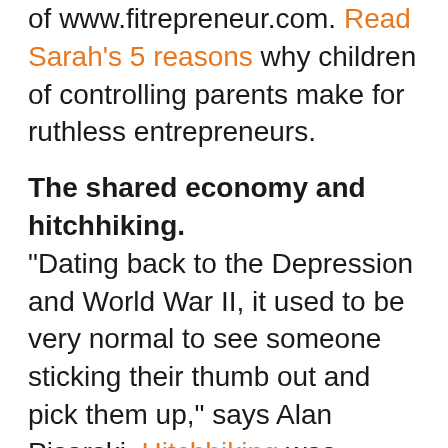of www.fitrepreneur.com. Read Sarah's 5 reasons why children of controlling parents make for ruthless entrepreneurs.
The shared economy and hitchhiking.
“Dating back to the Depression and World War II, it used to be very normal to see someone sticking their thumb out and pick them up,” says Alan Pisarski. Hitchhiking was something my parents might have done in their youth, but not something we do now, or at least the conventional way. UberPool, Lyft Line, CabCorner, are all forms of hitchhiking our shared economy (millennials) are adopting. What’s fascinating is the underlying truth